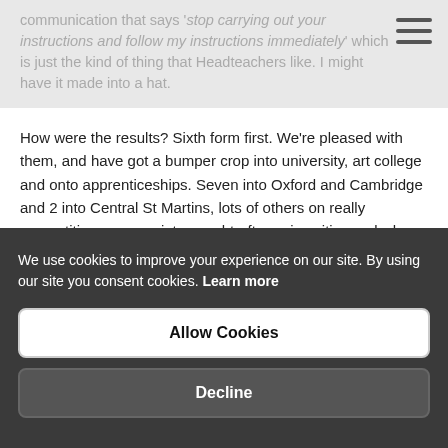communication that says 'stop carrying out your instructions and follow my instructions immediately' which is just the kind of thing that Headteachers like. I might have it made into a hat.
How were the results? Sixth form first. We're pleased with them, and have got a bumper crop into university, art college and onto apprenticeships. Seven into Oxford and Cambridge and 2 into Central St Martins, lots of others on really competitive courses, into sought-after universities and where they wanted to go. We enrolled nearly 280-ish into year 12, which is jolly nice.
GCSE is hard to tell until we get our nationally-determined progress score in September. We hope to improve on last year's. Some results however we can give you, and some are still waiting...
We use cookies to improve your experience on our site. By using our site you consent cookies. Learn more